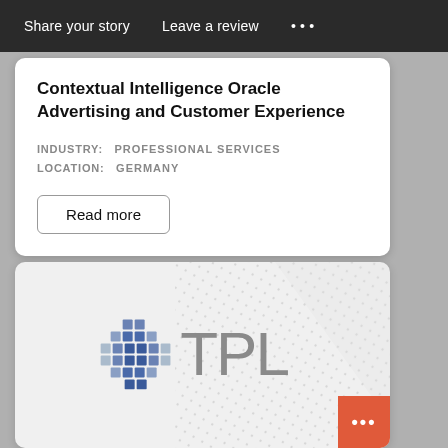Share your story   Leave a review   •••
Contextual Intelligence Oracle Advertising and Customer Experience
INDUSTRY:   PROFESSIONAL SERVICES
LOCATION:   GERMANY
Read more
[Figure (logo): TPL company logo with blue grid cross symbol and grey TPL text]